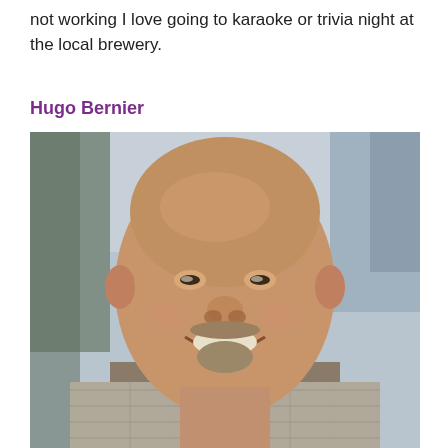not working I love going to karaoke or trivia night at the local brewery.
Hugo Bernier
[Figure (photo): Headshot of Hugo Bernier, a bald smiling middle-aged man with a mustache and goatee, wearing a plaid shirt, photographed outdoors with a blurred urban background.]